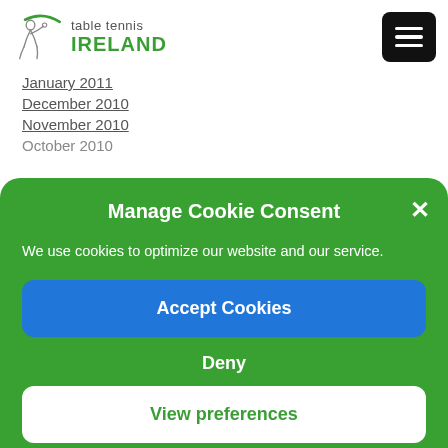[Figure (logo): Table Tennis Ireland logo with figure and green arc]
January 2011
December 2010
November 2010
October 2010
Manage Cookie Consent
We use cookies to optimize our website and our service.
Accept Cookies
Deny
View preferences
Cookie policy   Privacy Policy